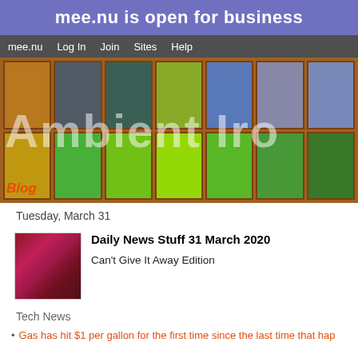mee.nu is open for business
mee.nu  Log In  Join  Sites  Help
[Figure (photo): Colorful pigment powders in wooden grid trays with 'Ambient Iro' text overlay and 'Blog' label]
Tuesday, March 31
Daily News Stuff 31 March 2020
Can't Give It Away Edition
Tech News
Gas has hit $1 per gallon for the first time since the last time that hap
In London.